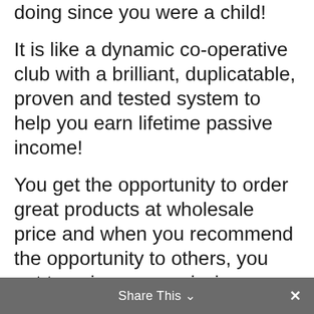doing since you were a child!
It is like a dynamic co-operative club with a brilliant, duplicatable, proven and tested system to help you earn lifetime passive income!
You get the opportunity to order great products at wholesale price and when you recommend the opportunity to others, you get to enjoy a commission on their purchases and on the purchases of those they recommended through a brilliant compensation plan!
You leverage on a great global opportunity
Share This  ∨   ×